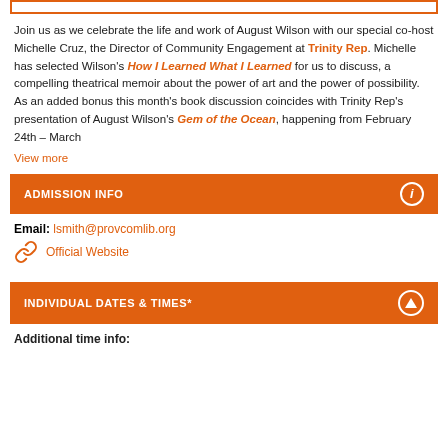Join us as we celebrate the life and work of August Wilson with our special co-host Michelle Cruz, the Director of Community Engagement at Trinity Rep. Michelle has selected Wilson's How I Learned What I Learned for us to discuss, a compelling theatrical memoir about the power of art and the power of possibility. As an added bonus this month's book discussion coincides with Trinity Rep's presentation of August Wilson's Gem of the Ocean, happening from February 24th – March
View more
ADMISSION INFO
Email: lsmith@provcomlib.org
Official Website
INDIVIDUAL DATES & TIMES*
Additional time info: